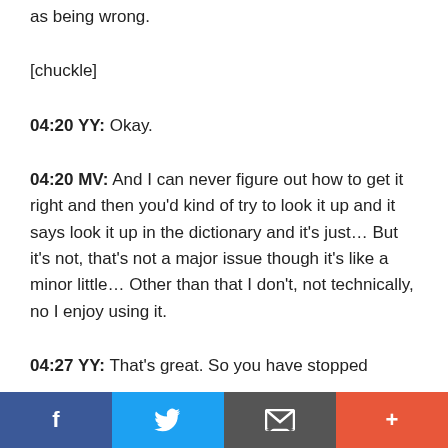as being wrong.
[chuckle]
04:20 YY: Okay.
04:20 MV: And I can never figure out how to get it right and then you’d kind of try to look it up and it says look it up in the dictionary and it’s just… But it’s not, that’s not a major issue though it’s like a minor little… Other than that I don’t, not technically, no I enjoy using it.
04:27 YY: That’s great. So you have stopped